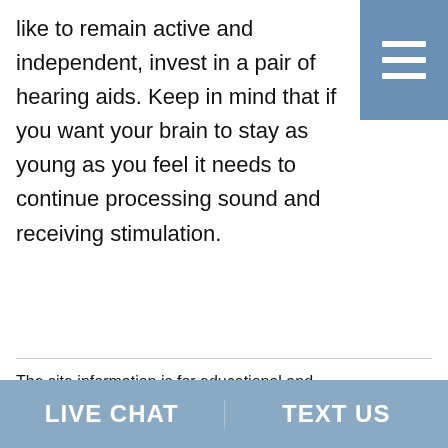like to remain active and independent, invest in a pair of hearing aids. Keep in mind that if you want your brain to stay as young as you feel it needs to continue processing sound and receiving stimulation.
[Figure (screenshot): Blue hamburger menu button with three white horizontal lines, positioned top right corner]
The site information is for educational and informational purposes only and does not constitute medical advice. To receive personalized advice or treatment, schedule an appointment.
LIVE CHAT    TEXT US